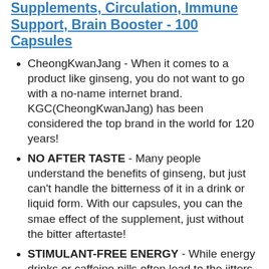Supplements, Circulation, Immune Support, Brain Booster - 100 Capsules
CheongKwanJang - When it comes to a product like ginseng, you do not want to go with a no-name internet brand. KGC(CheongKwanJang) has been considered the top brand in the world for 120 years!
NO AFTER TASTE - Many people understand the benefits of ginseng, but just can't handle the bitterness of it in a drink or liquid form. With our capsules, you can the smae effect of the supplement, just without the bitter aftertaste!
STIMULANT-FREE ENERGY - While energy drinks or caffeine pills often lead to the jitters or headaches, KGC red ginseng help you stay energized and focused and get things done.